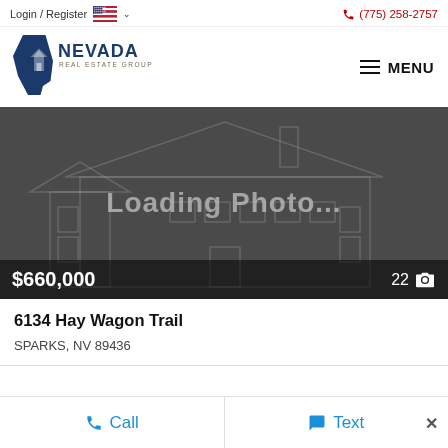Login / Register | (775) 258-2757
[Figure (logo): Nevada Real Estate Group logo with state outline]
MENU
[Figure (photo): Loading Photo... placeholder for property image at 6134 Hay Wagon Trail, showing $660,000 price and 22 photo count]
6134 Hay Wagon Trail
SPARKS, NV 89436
Call | Text | ×